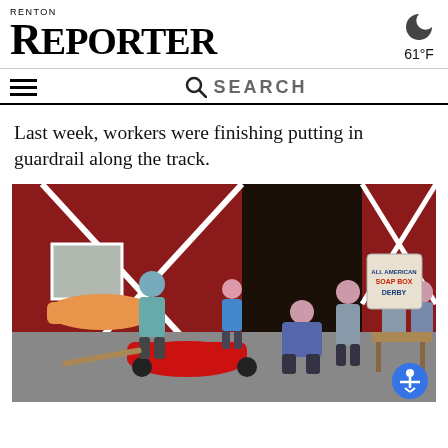RENTON REPORTER — 61°F
Last week, workers were finishing putting in guardrail along the track.
[Figure (photo): People working outside a red barn-style building, preparing soap box derby cars. Several individuals are gathered around a red soap box derby car on the ground, with others working at a table on the right. A 'Soap Box Derby' sign is visible inside the open barn door.]